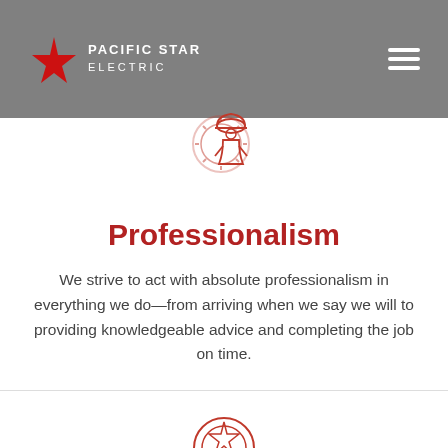[Figure (logo): Pacific Star Electric logo with red star icon and white text on gray header background]
[Figure (illustration): Red line-art icon of an electrician/worker wearing a hard hat with a gear behind them]
Professionalism
We strive to act with absolute professionalism in everything we do—from arriving when we say we will to providing knowledgeable advice and completing the job on time.
[Figure (illustration): Red line-art icon partially visible at bottom, appears to be a circular badge/star icon]